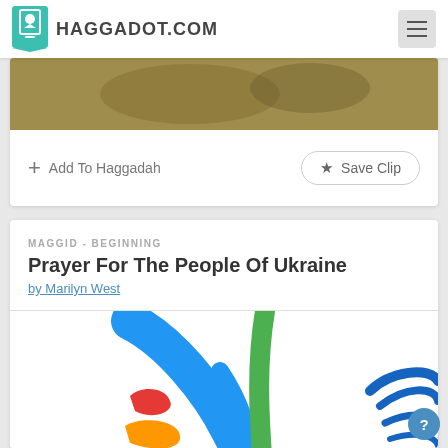HAGGADOT.COM
[Figure (photo): Sepia-toned photograph partially visible at top of first card]
+ Add To Haggadah
★ Save Clip
MAGGID - BEGINNING
Prayer For The People Of Ukraine
by Marilyn West
[Figure (illustration): Colorful illustration with flowing ribbon shapes in blue, green, red, orange, and black on white background, with blue floral element on right]